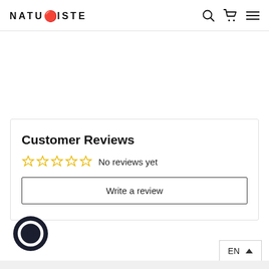NATURISTE
Customer Reviews
No reviews yet
Write a review
[Figure (illustration): Dark circular chat widget icon]
EN